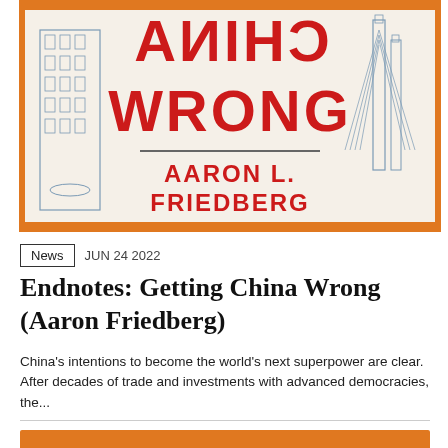[Figure (illustration): Book cover of 'Getting China Wrong' by Aaron L. Friedberg. Red text on cream background with orange borders. The word CHINA appears mirrored/reversed at top, then WRONG in large red bold letters. A horizontal divider line separates the title from the author name AARON L. FRIEDBERG in red bold text. Architectural illustrations of buildings appear on left and right sides in blue-gray.]
News   JUN 24 2022
Endnotes: Getting China Wrong (Aaron Friedberg)
China's intentions to become the world's next superpower are clear. After decades of trade and investments with advanced democracies, the...